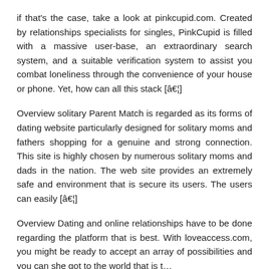if that's the case, take a look at pinkcupid.com. Created by relationships specialists for singles, PinkCupid is filled with a massive user-base, an extraordinary search system, and a suitable verification system to assist you combat loneliness through the convenience of your house or phone. Yet, how can all this stack [â€¦]
Overview solitary Parent Match is regarded as its forms of dating website particularly designed for solitary moms and fathers shopping for a genuine and strong connection. This site is highly chosen by numerous solitary moms and dads in the nation. The web site provides an extremely safe and environment that is secure its users. The users can easily [â€¦]
Overview Dating and online relationships have to be done regarding the platform that is best. With loveaccess.com, you might be ready to accept an array of possibilities and you can she got to the world that is t…